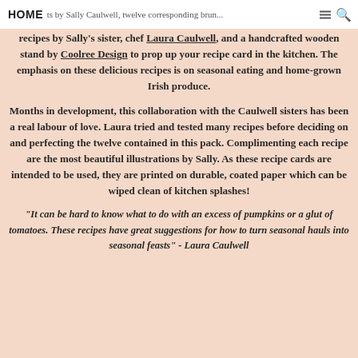HOME ts by Sally Caulwell, twelve corresponding brun... [search icon]
recipes by Sally's sister, chef Laura Caulwell, and a handcrafted wooden stand by Coolree Design to prop up your recipe card in the kitchen. The emphasis on these delicious recipes is on seasonal eating and home-grown Irish produce.
Months in development, this collaboration with the Caulwell sisters has been a real labour of love. Laura tried and tested many recipes before deciding on and perfecting the twelve contained in this pack. Complimenting each recipe are the most beautiful illustrations by Sally. As these recipe cards are intended to be used, they are printed on durable, coated paper which can be wiped clean of kitchen splashes!
"It can be hard to know what to do with an excess of pumpkins or a glut of tomatoes. These recipes have great suggestions for how to turn seasonal hauls into seasonal feasts" - Laura Caulwell